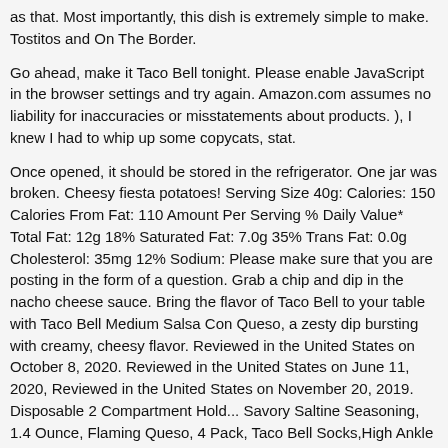as that. Most importantly, this dish is extremely simple to make. Tostitos and On The Border.
Go ahead, make it Taco Bell tonight. Please enable JavaScript in the browser settings and try again. Amazon.com assumes no liability for inaccuracies or misstatements about products. ), I knew I had to whip up some copycats, stat.
Once opened, it should be stored in the refrigerator. One jar was broken. Cheesy fiesta potatoes! Serving Size 40g: Calories: 150 Calories From Fat: 110 Amount Per Serving % Daily Value* Total Fat: 12g 18% Saturated Fat: 7.0g 35% Trans Fat: 0.0g Cholesterol: 35mg 12% Sodium: Please make sure that you are posting in the form of a question. Grab a chip and dip in the nacho cheese sauce. Bring the flavor of Taco Bell to your table with Taco Bell Medium Salsa Con Queso, a zesty dip bursting with creamy, cheesy flavor. Reviewed in the United States on October 8, 2020. Reviewed in the United States on June 11, 2020, Reviewed in the United States on November 20, 2019. Disposable 2 Compartment Hold... Savory Saltine Seasoning, 1.4 Ounce, Flaming Queso, 4 Pack, Taco Bell Socks,High Ankle Socks Christmas Socks For Man Women. Hard to find at my little local grocery store, so I just order it by the case. Aug 25, 2015 - This is a quick and easy copycat dish that can be enjoyed any time of the day. We are